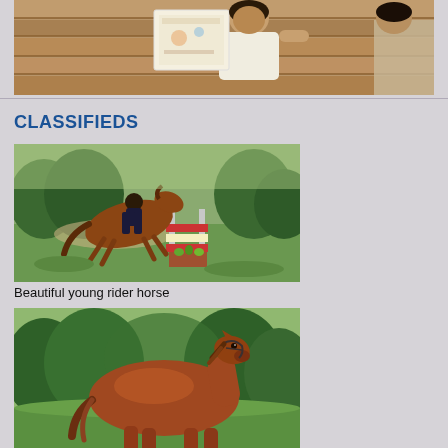[Figure (photo): Person holding a document/book in front of a wooden fence background]
CLASSIFIEDS
[Figure (photo): Horse and rider jumping over a cross-country fence obstacle in a green field]
Beautiful young rider horse
[Figure (photo): Chestnut horse standing in a field with green trees in the background]